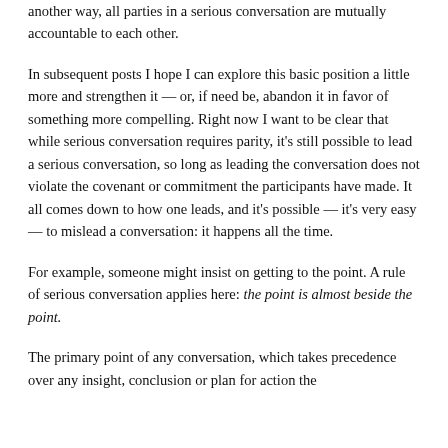another way, all parties in a serious conversation are mutually accountable to each other.
In subsequent posts I hope I can explore this basic position a little more and strengthen it — or, if need be, abandon it in favor of something more compelling. Right now I want to be clear that while serious conversation requires parity, it's still possible to lead a serious conversation, so long as leading the conversation does not violate the covenant or commitment the participants have made. It all comes down to how one leads, and it's possible — it's very easy — to mislead a conversation: it happens all the time.
For example, someone might insist on getting to the point. A rule of serious conversation applies here: the point is almost beside the point.
The primary point of any conversation, which takes precedence over any insight, conclusion or plan for action the